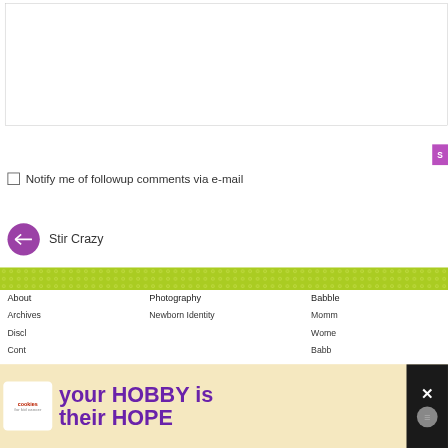[Figure (screenshot): Text area input box (empty, white background with border)]
[Figure (screenshot): Submit button (purple/magenta, partially visible on right edge)]
Notify me of followup comments via e-mail
Stir Crazy
[Figure (screenshot): Green dotted banner/divider strip]
About
Photography
Babble
Archives
Newborn Identity
Momm
Discl
Wome
Cont
Babb
[Figure (screenshot): Advertisement banner: cookies for kid cancer / your HOBBY is their HOPE]